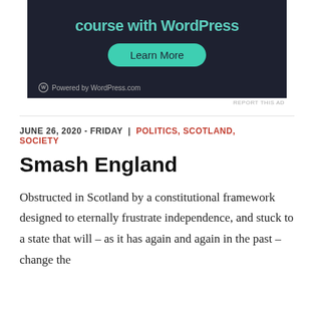[Figure (other): Advertisement banner with dark background showing 'course with WordPress' text, a 'Learn More' button, and 'Powered by WordPress.com' footer]
REPORT THIS AD
JUNE 26, 2020 - FRIDAY | POLITICS, SCOTLAND, SOCIETY
Smash England
Obstructed in Scotland by a constitutional framework designed to eternally frustrate independence, and stuck to a state that will – as it has again and again in the past – change the